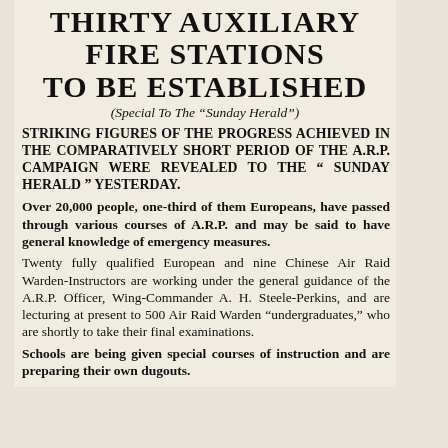THIRTY AUXILIARY FIRE STATIONS TO BE ESTABLISHED
(Special To The "Sunday Herald")
STRIKING FIGURES OF THE PROGRESS ACHIEVED IN THE COMPARATIVELY SHORT PERIOD OF THE A.R.P. CAMPAIGN WERE REVEALED TO THE "SUNDAY HERALD" YESTERDAY.
Over 20,000 people, one-third of them Europeans, have passed through various courses of A.R.P. and may be said to have general knowledge of emergency measures.
Twenty fully qualified European and nine Chinese Air Raid Warden-Instructors are working under the general guidance of the A.R.P. Officer, Wing-Commander A. H. Steele-Perkins, and are lecturing at present to 500 Air Raid Warden "undergraduates," who are shortly to take their final examinations.
Schools are being given special courses of instruction and are preparing their own dugouts.